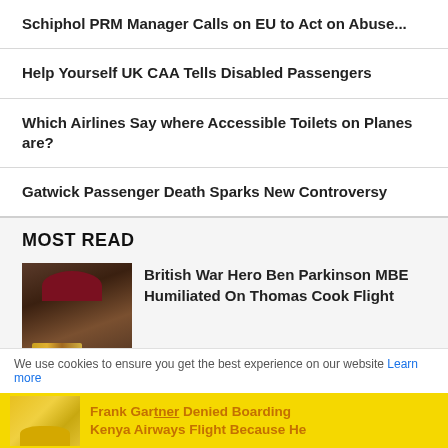Schiphol PRM Manager Calls on EU to Act on Abuse...
Help Yourself UK CAA Tells Disabled Passengers
Which Airlines Say where Accessible Toilets on Planes are?
Gatwick Passenger Death Sparks New Controversy
MOST READ
British War Hero Ben Parkinson MBE Humiliated On Thomas Cook Flight
We use cookies to ensure you get the best experience on our website Learn more
Frank Gar[...] Denied Boarding Kenya Airways Flight Because He